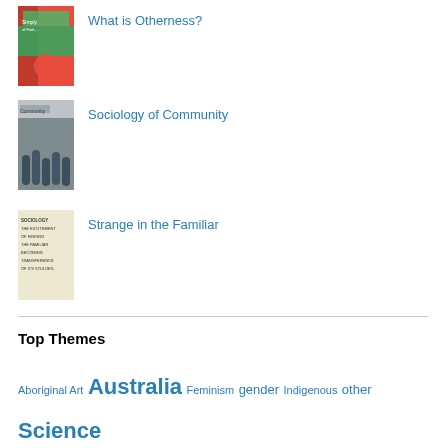What is Otherness?
Sociology of Community
Strange in the Familiar
Top Themes
Aboriginal Art Australia Feminism gender Indigenous other